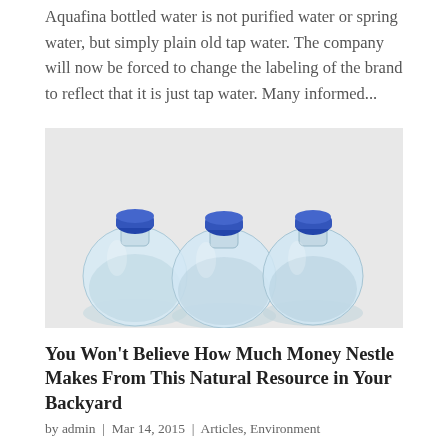Aquafina bottled water is not purified water or spring water, but simply plain old tap water. The company will now be forced to change the labeling of the brand to reflect that it is just tap water. Many informed...
[Figure (photo): Three clear plastic water bottles with blue caps, filled with water, photographed against a white background.]
You Won't Believe How Much Money Nestle Makes From This Natural Resource in Your Backyard
by admin | Mar 14, 2015 | Articles, Environment